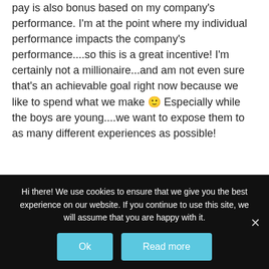pay is also bonus based on my company's performance. I'm at the point where my individual performance impacts the company's performance....so this is a great incentive! I'm certainly not a millionaire...and am not even sure that's an achievable goal right now because we like to spend what we make 🙂 Especially while the boys are young....we want to expose them to as many different experiences as possible!
How did you get
Hi there! We use cookies to ensure that we give you the best experience on our website. If you continue to use this site, we will assume that you are happy with it.